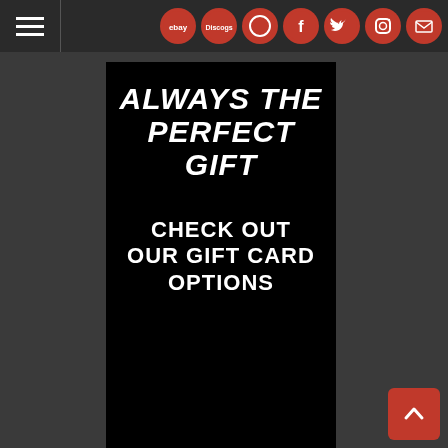Navigation bar with hamburger menu and social/marketplace icons: eBay, Discogs, Facebook, Twitter, Instagram, Email
[Figure (infographic): Black promotional banner with italic bold white text reading 'ALWAYS THE PERFECT GIFT' and below 'CHECK OUT OUR GIFT CARD OPTIONS']
[Figure (other): Red back-to-top button with upward chevron arrow in bottom-right corner]